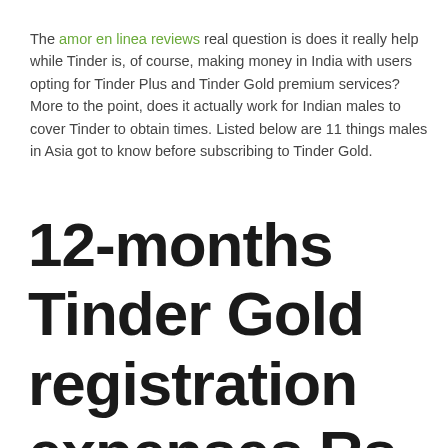The amor en linea reviews real question is does it really help while Tinder is, of course, making money in India with users opting for Tinder Plus and Tinder Gold premium services? More to the point, does it actually work for Indian males to cover Tinder to obtain times. Listed below are 11 things males in Asia got to know before subscribing to Tinder Gold.
12-months Tinder Gold registration expenses Rs 3,000 per year rather than Rs 250 month-to-